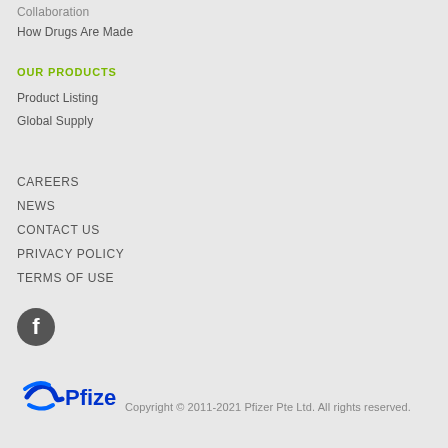Collaboration
How Drugs Are Made
OUR PRODUCTS
Product Listing
Global Supply
CAREERS
NEWS
CONTACT US
PRIVACY POLICY
TERMS OF USE
[Figure (logo): Facebook social media icon - circular dark grey button with white F]
[Figure (logo): Pfizer logo with blue swoosh icon and Pfizer wordmark]
Copyright © 2011-2021 Pfizer Pte Ltd. All rights reserved.